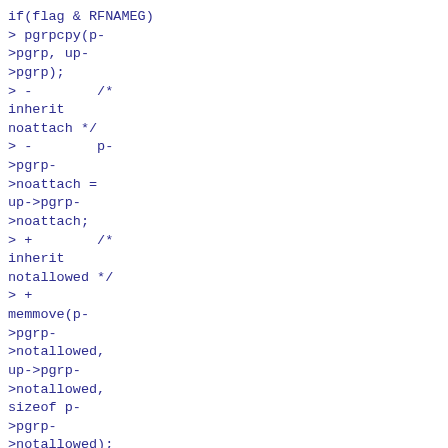if(flag & RFNAMEG)
> pgrpcpy(p->pgrp, up->pgrp);
> -        /* inherit noattach */
> -        p->pgrp->noattach = up->pgrp->noattach;
> +        /* inherit notallowed */
> + memmove(p->pgrp->notallowed, up->pgrp->notallowed, sizeof p->pgrp->notallowed);
>     }
>     else {
>         p->pgrp = up-